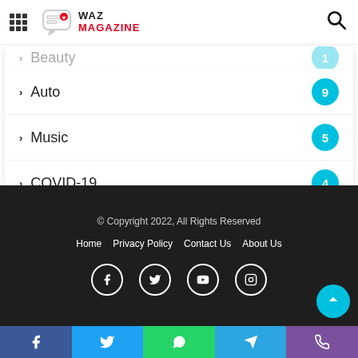WAZ Magazine
Beauty
Auto — 9
Music — 5
COVID-19 — 4
Movies — 1
© Copyright 2022, All Rights Reserved
Home | Privacy Policy | Contact Us | About Us